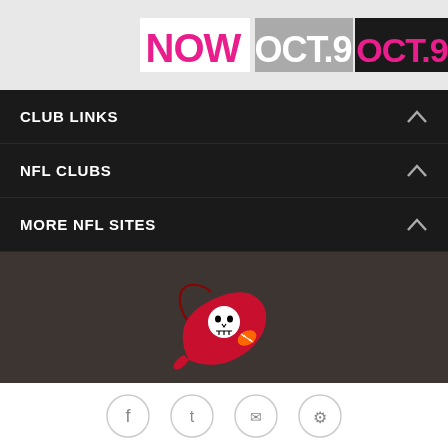[Figure (illustration): Promotional banner with text NOW OCT.9 and OCT.9-16 in pink and white on dark background]
CLUB LINKS
NFL CLUBS
MORE NFL SITES
[Figure (logo): Tampa Bay Buccaneers logo - pirate flag skull]
© TAMPA BAY BUCCANEERS. ALL RIGHTS RESERVED
PRIVACY POLICY
ACCESSIBILITY
CONTACT US
[Figure (illustration): Social media icons: Facebook, Twitter, Email, Link]